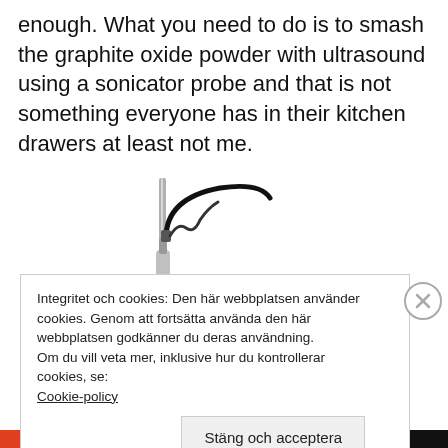enough. What you need to do is to smash the graphite oxide powder with ultrasound using a sonicator probe and that is not something everyone has in their kitchen drawers at least not me.
[Figure (photo): Photo of an ultrasonic sonicator probe mounted on a metal stand with a black cable curving upward]
Integritet och cookies: Den här webbplatsen använder cookies. Genom att fortsätta använda den här webbplatsen godkänner du deras användning.
Om du vill veta mer, inklusive hur du kontrollerar cookies, se: Cookie-policy